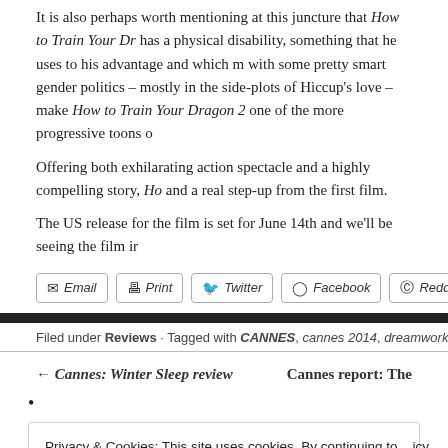It is also perhaps worth mentioning at this juncture that How to Train Your Dr has a physical disability, something that he uses to his advantage and which m with some pretty smart gender politics – mostly in the side-plots of Hiccup's love – make How to Train Your Dragon 2 one of the more progressive toons o
Offering both exhilarating action spectacle and a highly compelling story, Ho and a real step-up from the first film.
The US release for the film is set for June 14th and we'll be seeing the film ir
Email  Print  Twitter  Facebook  Reddit
Filed under Reviews · Tagged with CANNES, cannes 2014, dreamworks, how to train your dra
← Cannes: Winter Sleep review    Cannes report: The
•
Privacy & Cookies: This site uses cookies. By continuing to use this website, you agree to their use. To find out more, including how to control cookies, see here: Cookie Policy  icy
Close and accept